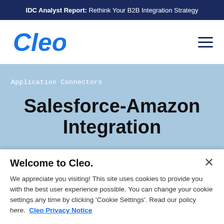IDC Analyst Report: Rethink Your B2B Integration Strategy
[Figure (logo): Cleo logo in blue italic bold text]
Application Connectors
Salesforce-Amazon Integration
Welcome to Cleo.
We appreciate you visiting! This site uses cookies to provide you with the best user experience possible. You can change your cookie settings any time by clicking 'Cookie Settings'. Read our policy here.  Cleo Privacy Notice